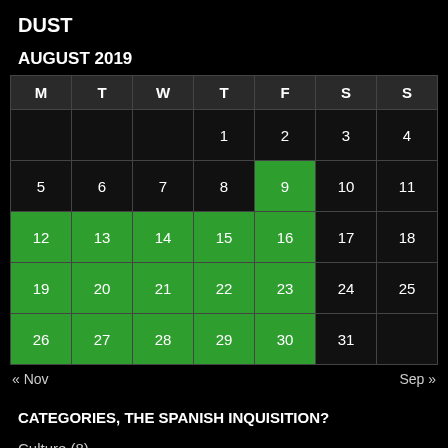DUST
AUGUST 2019
| M | T | W | T | F | S | S |
| --- | --- | --- | --- | --- | --- | --- |
|  |  |  | 1 | 2 | 3 | 4 |
| 5 | 6 | 7 | 8 | 9 | 10 | 11 |
| 12 | 13 | 14 | 15 | 16 | 17 | 18 |
| 19 | 20 | 21 | 22 | 23 | 24 | 25 |
| 26 | 27 | 28 | 29 | 30 | 31 |  |
« Nov    Sep »
CATEGORIES, THE SPANISH INQUISITION?
Culture (8)
Electronic Entertainment (10)